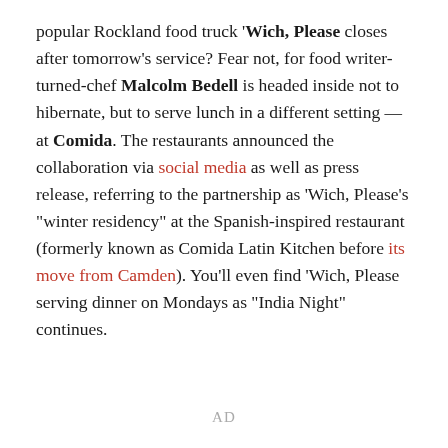popular Rockland food truck 'Wich, Please closes after tomorrow's service? Fear not, for food writer-turned-chef Malcolm Bedell is headed inside not to hibernate, but to serve lunch in a different setting — at Comida. The restaurants announced the collaboration via social media as well as press release, referring to the partnership as 'Wich, Please's "winter residency" at the Spanish-inspired restaurant (formerly known as Comida Latin Kitchen before its move from Camden). You'll even find 'Wich, Please serving dinner on Mondays as "India Night" continues.
AD